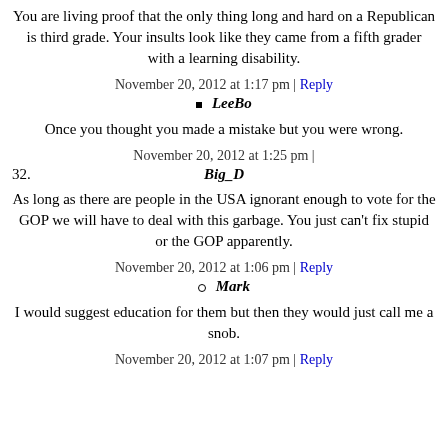You are living proof that the only thing long and hard on a Republican is third grade. Your insults look like they came from a fifth grader with a learning disability.
November 20, 2012 at 1:17 pm | Reply
LeeBo
Once you thought you made a mistake but you were wrong.
November 20, 2012 at 1:25 pm |
32. Big_D
As long as there are people in the USA ignorant enough to vote for the GOP we will have to deal with this garbage. You just can't fix stupid or the GOP apparently.
November 20, 2012 at 1:06 pm | Reply
Mark
I would suggest education for them but then they would just call me a snob.
November 20, 2012 at 1:07 pm | Reply